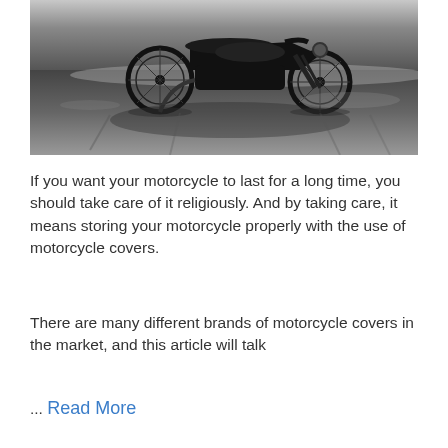[Figure (photo): Black and white photograph of a motorcycle parked on a wet reflective surface, showing the silhouette of the bike with its shadow reflected below]
If you want your motorcycle to last for a long time, you should take care of it religiously. And by taking care, it means storing your motorcycle properly with the use of motorcycle covers.
There are many different brands of motorcycle covers in the market, and this article will talk
… Read More